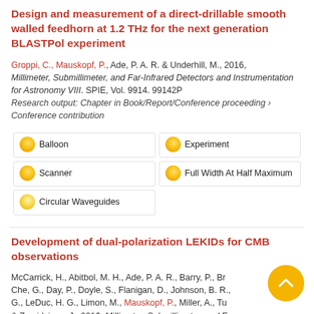Design and measurement of a direct-drillable smooth walled feedhorn at 1.2 THz for the next generation BLASTPol experiment
Groppi, C., Mauskopf, P., Ade, P. A. R. & Underhill, M., 2016, Millimeter, Submillimeter, and Far-Infrared Detectors and Instrumentation for Astronomy VIII. SPIE, Vol. 9914. 99142P
Research output: Chapter in Book/Report/Conference proceeding › Conference contribution
Balloon
Experiment
Scanner
Full Width At Half Maximum
Circular Waveguides
Development of dual-polarization LEKIDs for CMB observations
McCarrick, H., Abitbol, M. H., Ade, P. A. R., Barry, P., Br..., Che, G., Day, P., Doyle, S., Flanigan, D., Johnson, B. R., ..., G., LeDuc, H. G., Limon, M., Mauskopf, P., Miller, A., Tu..., & Zmuidzinas, J., 2016, Millimeter, Submillimeter, and Far-...